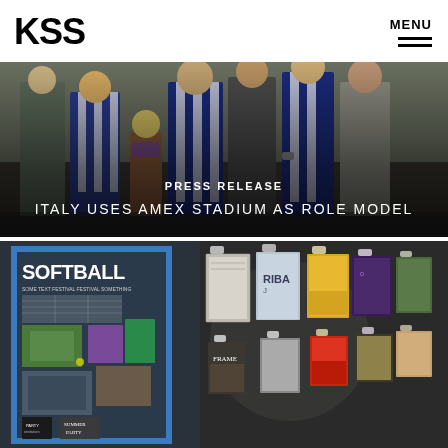KSS
MENU
[Figure (photo): Crowd of football fans wearing blue and white striped shirts outside a stadium, with overlay text showing press release title]
PRESS RELEASE
ITALY USES AMEX STADIUM AS ROLE MODEL
[Figure (photo): Interior design display showing a blue-framed noticeboard with Softball branding and sports photos on the left, and a dark wall displaying various magazines and publications on clipboards on the right]